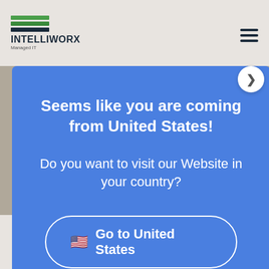[Figure (logo): Intelliworx Managed IT logo with green and dark horizontal bars above bold text]
[Figure (screenshot): Modal popup with blue background asking user if they want to visit the website from United States, with a 'Go to United States' button and 'Stay at Australia' link]
Comment